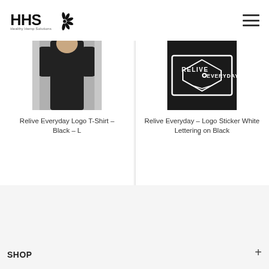[Figure (logo): HHS Healthy Hemp Solutions logo with stylized leaf/flower graphic]
[Figure (photo): Product photo: Relive Everyday Logo T-Shirt in black, size L, person wearing it]
Relive Everyday Logo T-Shirt – Black – L
[Figure (photo): Product photo: Relive Everyday Logo Sticker White Lettering on Black]
Relive Everyday – Logo Sticker White Lettering on Black
SHOP